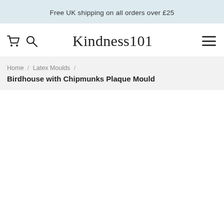Free UK shipping on all orders over £25
[Figure (screenshot): Kindness101 website navigation bar with cart icon, search icon, logo, and hamburger menu]
Home / Latex Moulds / Birdhouse with Chipmunks Plaque Mould
Birdhouse with Chipmunks Plaque Mould